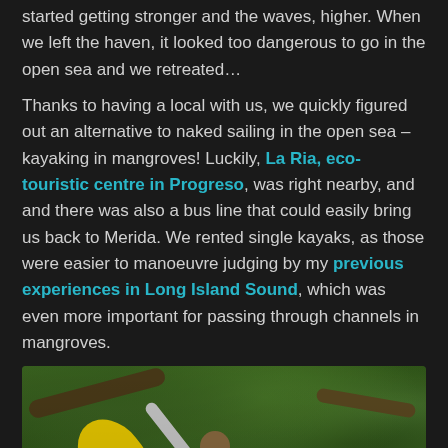started getting stronger and the waves, higher. When we left the haven, it looked too dangerous to go in the open sea and we retreated…
Thanks to having a local with us, we quickly figured out an alternative to naked sailing in the open sea – kayaking in mangroves! Luckily, La Ria, eco-touristic centre in Progreso, was right nearby, and and there was also a bus line that could easily bring us back to Merida. We rented single kayaks, as those were easier to manoeuvre judging by my previous experiences in Long Island Sound, which was even more important for passing through channels in mangroves.
[Figure (photo): A person in a kayak holding a yellow paddle up in the air, surrounded by dense green mangrove vegetation.]